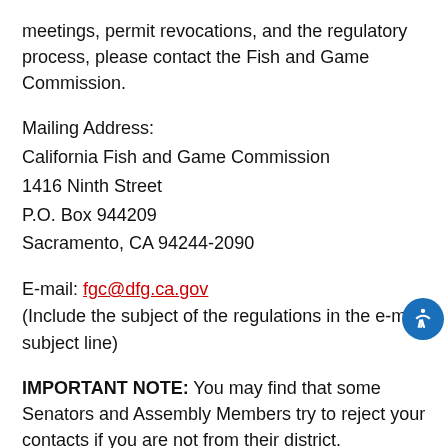meetings, permit revocations, and the regulatory process, please contact the Fish and Game Commission.
Mailing Address:
California Fish and Game Commission
1416 Ninth Street
P.O. Box 944209
Sacramento, CA 94244-2090
E-mail: fgc@dfg.ca.gov
(Include the subject of the regulations in the e-mail subject line)
IMPORTANT NOTE: You may find that some Senators and Assembly Members try to reject your contacts if you are not from their district. Sometimes legislator's